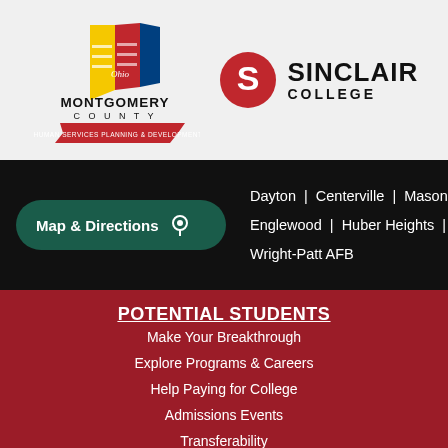[Figure (logo): Montgomery County Human Services Planning & Development logo]
[Figure (logo): Sinclair College logo with red circular S icon]
Map & Directions
Dayton | Centerville | Mason | Englewood | Huber Heights | Online | Wright-Patt AFB
POTENTIAL STUDENTS
Make Your Breakthrough
Explore Programs & Careers
Help Paying for College
Admissions Events
Transferability